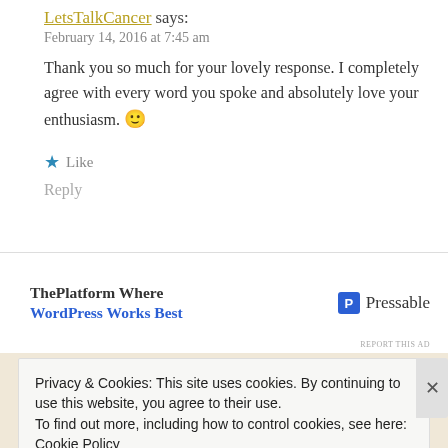LetsTalkCancer says:
February 14, 2016 at 7:45 am
Thank you so much for your lovely response. I completely agree with every word you spoke and absolutely love your enthusiasm. 🙂
★ Like
Reply
[Figure (infographic): Advertisement banner: ThePlatform Where WordPress Works Best — Pressable logo]
REPORT THIS AD
Privacy & Cookies: This site uses cookies. By continuing to use this website, you agree to their use.
To find out more, including how to control cookies, see here: Cookie Policy
Close and accept